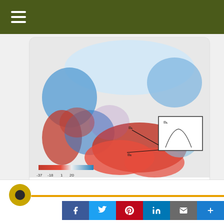[Figure (map): Climate map of North America showing temperature changes, colored red (warm) and blue (cool), with a scale from -37 to 20 and an inset graph in the upper right showing a bell curve.]
phys.org
Study finds climate change is waking bumblebees earlier from winter …
Earthwise A... @Earthwis... · Sep 1
A new scientific study shows that the top